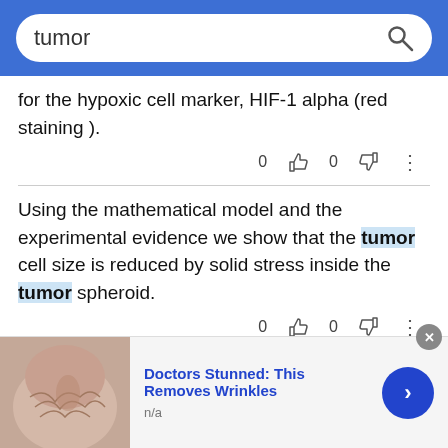tumor [search bar]
for the hypoxic cell marker, HIF-1 alpha (red staining ).
Using the mathematical model and the experimental evidence we show that the tumor cell size is reduced by solid stress inside the tumor spheroid.
All costs for treatment in relation to the primary
[Figure (screenshot): Advertisement banner: photo of wrinkled skin, text 'Doctors Stunned: This Removes Wrinkles', 'n/a', blue arrow button, close X button]